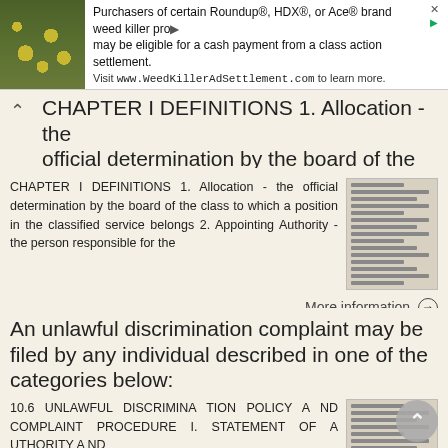[Figure (screenshot): Advertisement banner: photo of yellow flowers on green foliage on left; text reads 'Purchasers of certain Roundup®, HDX®, or Ace® brand weed killer products may be eligible for a cash payment from a class action settlement. Visit www.WeedKillerAdSettlement.com to learn more.' with close/arrow icons on right.]
official determination by the board of the class to which a position in the classified
CHAPTER I DEFINITIONS 1. Allocation - the official determination by the board of the class to which a position in the classified service belongs 2. Appointing Authority - the person responsible for the
More information →
An unlawful discrimination complaint may be filed by any individual described in one of the categories below:
10.6 UNLAWFUL DISCRIMINA TION POLICY A ND COMPLAINT PROCEDURE I. STATEMENT OF A UTHORITY A ND